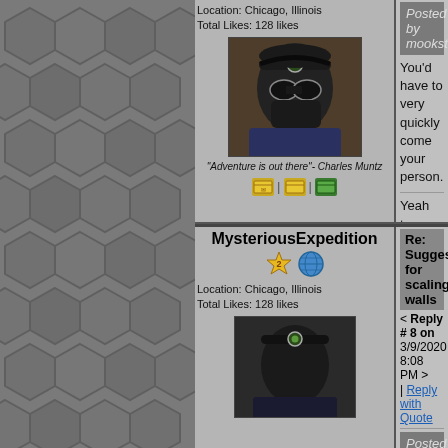Location: Chicago, Illinois
Total Likes: 128 likes
[Figure (photo): User avatar showing person wearing headlamp and mask/goggles outdoors]
"Adventure is out there" - Charles Muntz
[Figure (other): Three small icon buttons in a row]
Posted by mookster
You'd have to very quickly come to your person.
Yeah true, that's definitely a major c... skip out on any rope climbing now
MysteriousExpedition
Re: Suggestions for scaling walls
< Reply # 8 on 3/9/2020 8:08 PM >
| Reply with Quote
Location: Chicago, Illinois
Total Likes: 128 likes
[Figure (photo): Second user avatar showing person wearing headlamp]
Posted by iamglamourghoul
This is an easy one. Rent a heli... transformable heli's, so you can...